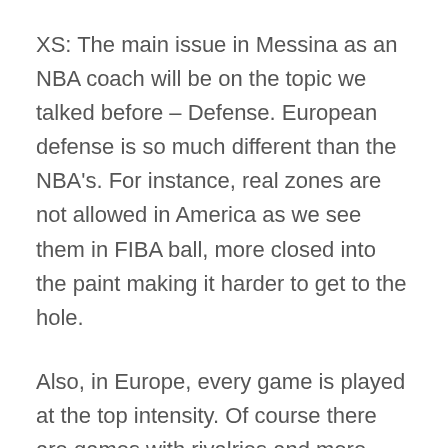XS: The main issue in Messina as an NBA coach will be on the topic we talked before – Defense. European defense is so much different than the NBA's. For instance, real zones are not allowed in America as we see them in FIBA ball, more closed into the paint making it harder to get to the hole.
Also, in Europe, every game is played at the top intensity. Of course there are games with rivalries and more things at stake but it's not like in the NBA where most teams cruise during a game just to sprint the last 8 minutes, or even cruising the whole season to click for the playoffs. For European teams, the dynamic is 1 or 2 games a week, 2 practices per day 4 to 5 days a week. Not shooting